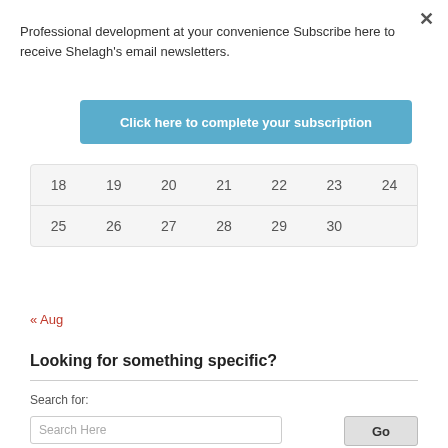Professional development at your convenience Subscribe here to receive Shelagh's email newsletters.
Click here to complete your subscription
| 18 | 19 | 20 | 21 | 22 | 23 | 24 |
| 25 | 26 | 27 | 28 | 29 | 30 |  |
« Aug
Looking for something specific?
Search for:
Search Here
Go